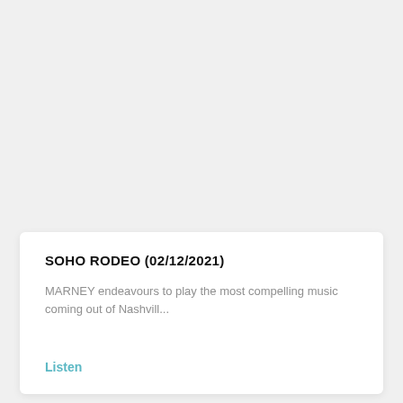SOHO RODEO (02/12/2021)
MARNEY endeavours to play the most compelling music coming out of Nashvill...
Listen